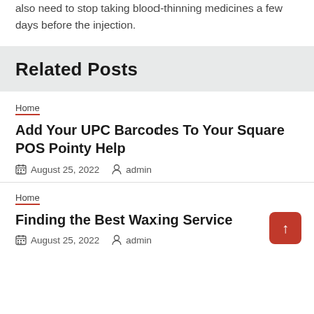also need to stop taking blood-thinning medicines a few days before the injection.
Related Posts
Home
Add Your UPC Barcodes To Your Square POS Pointy Help
August 25, 2022   admin
Home
Finding the Best Waxing Service
August 25, 2022   admin